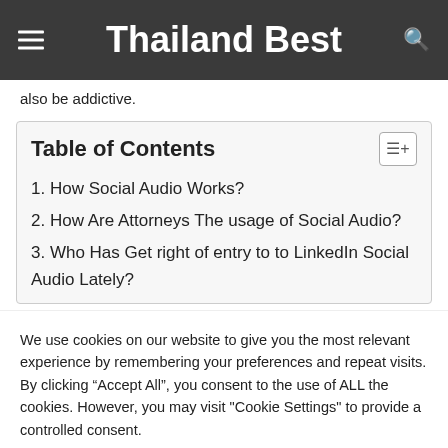Thailand Best
also be addictive.
| Table of Contents |
| --- |
| 1. How Social Audio Works? |
| 2. How Are Attorneys The usage of Social Audio? |
| 3. Who Has Get right of entry to to LinkedIn Social Audio Lately? |
We use cookies on our website to give you the most relevant experience by remembering your preferences and repeat visits. By clicking “Accept All”, you consent to the use of ALL the cookies. However, you may visit "Cookie Settings" to provide a controlled consent.